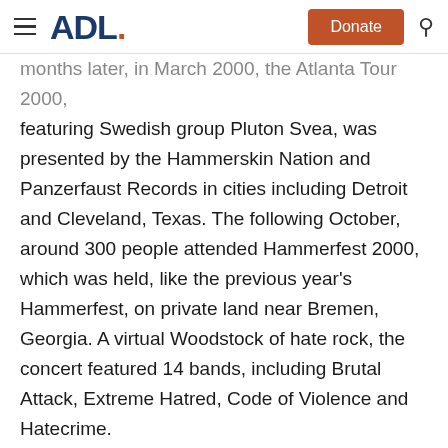ADL — Donate [button] [search icon]
months later, in March 2000, the Atlanta Tour 2000, featuring Swedish group Pluton Svea, was presented by the Hammerskin Nation and Panzerfaust Records in cities including Detroit and Cleveland, Texas. The following October, around 300 people attended Hammerfest 2000, which was held, like the previous year's Hammerfest, on private land near Bremen, Georgia. A virtual Woodstock of hate rock, the concert featured 14 bands, including Brutal Attack, Extreme Hatred, Code of Violence and Hatecrime.
Given the violent and racist lyrics of white power